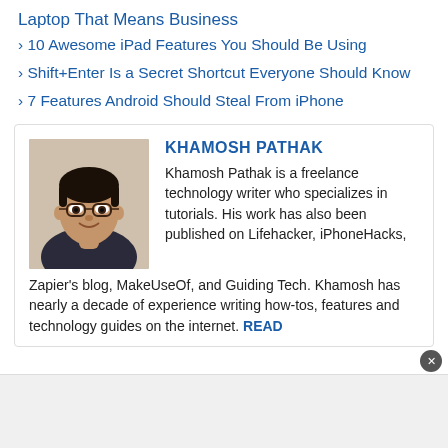Laptop That Means Business
› 10 Awesome iPad Features You Should Be Using
› Shift+Enter Is a Secret Shortcut Everyone Should Know
› 7 Features Android Should Steal From iPhone
[Figure (photo): Portrait photo of Khamosh Pathak, a young man with glasses smiling]
KHAMOSH PATHAK
Khamosh Pathak is a freelance technology writer who specializes in tutorials. His work has also been published on Lifehacker, iPhoneHacks, Zapier's blog, MakeUseOf, and Guiding Tech. Khamosh has nearly a decade of experience writing how-tos, features and technology guides on the internet. READ